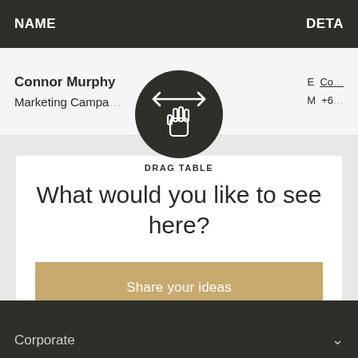| NAME | DETA |
| --- | --- |
| Connor Murphy
Marketing Campa… | E Co…
M +6… |
[Figure (illustration): Dark circular drag icon with a pointing hand and horizontal arrows labeled DRAG TABLE]
What would you like to see here?
Share your ideas
Corporate